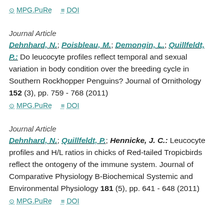MPG.PuRe  DOI
Journal Article
Dehnhard, N.; Poisbleau, M.; Demongin, L.; Quillfeldt, P.: Do leucocyte profiles reflect temporal and sexual variation in body condition over the breeding cycle in Southern Rockhopper Penguins? Journal of Ornithology 152 (3), pp. 759 - 768 (2011)
MPG.PuRe  DOI
Journal Article
Dehnhard, N.; Quillfeldt, P.; Hennicke, J. C.: Leucocyte profiles and H/L ratios in chicks of Red-tailed Tropicbirds reflect the ontogeny of the immune system. Journal of Comparative Physiology B-Biochemical Systemic and Environmental Physiology 181 (5), pp. 641 - 648 (2011)
MPG.PuRe  DOI